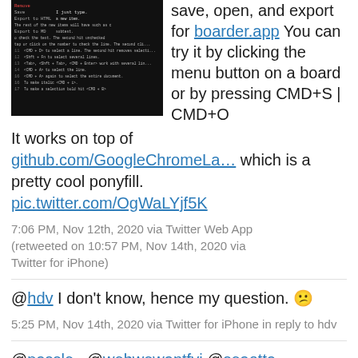[Figure (screenshot): Dark-themed app screenshot showing a list of keyboard shortcuts and menu items]
save, open, and export for boarder.app You can try it by clicking the menu button on a board or by pressing CMD+S | CMD+O
It works on top of github.com/GoogleChromeLa… which is a pretty cool ponyfill.
pic.twitter.com/OgWaLYjf5K
7:06 PM, Nov 12th, 2020 via Twitter Web App (retweeted on 10:57 PM, Nov 14th, 2020 via Twitter for iPhone)
@hdv I don't know, hence my question. 😕
5:25 PM, Nov 14th, 2020 via Twitter for iPhone in reply to hdv
@passle_ @webwewantfyi @seaotta I'm not personally involved; my